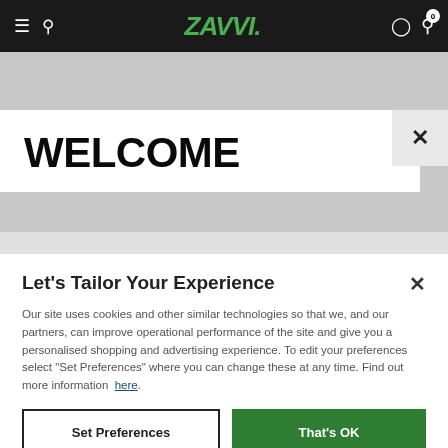ZAVVI navigation bar with hamburger menu, search, logo, account and cart icons
[Figure (screenshot): Background product images strip showing a blue Blu-ray case on left and a person on right]
WELCOME
Let's Tailor Your Experience
Our site uses cookies and other similar technologies so that we, and our partners, can improve operational performance of the site and give you a personalised shopping and advertising experience. To edit your preferences select "Set Preferences" where you can change these at any time. Find out more information here.